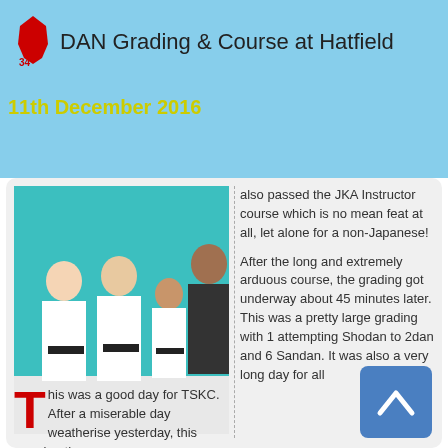DAN Grading & Course at Hatfield
11th December 2016
[Figure (photo): Group photo of four people in karate gi with black belts standing in front of a green background]
also passed the JKA Instructor course which is no mean feat at all, let alone for a non-Japanese!

After the long and extremely arduous course, the grading got underway about 45 minutes later. This was a pretty large grading with 1 attempting Shodan to 2dan and 6 Sandan. It was also a very long day for all
This was a good day for TSKC. After a miserable day weatherise yesterday, this morning the sun was